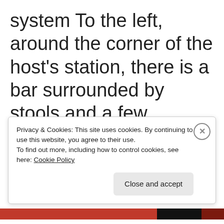system To the left, around the corner of the host's station, there is a bar surrounded by stools and a few hightop tables. You'll notice at times that there are some empty barstools and it was explained to us that the staff will try to be as accommodating as possible for
Privacy & Cookies: This site uses cookies. By continuing to use this website, you agree to their use.
To find out more, including how to control cookies, see here: Cookie Policy
Close and accept